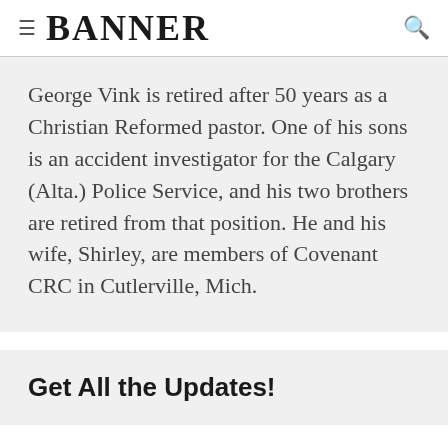≡ BANNER 🔍
George Vink is retired after 50 years as a Christian Reformed pastor. One of his sons is an accident investigator for the Calgary (Alta.) Police Service, and his two brothers are retired from that position. He and his wife, Shirley, are members of Covenant CRC in Cutlerville, Mich.
Get All the Updates!